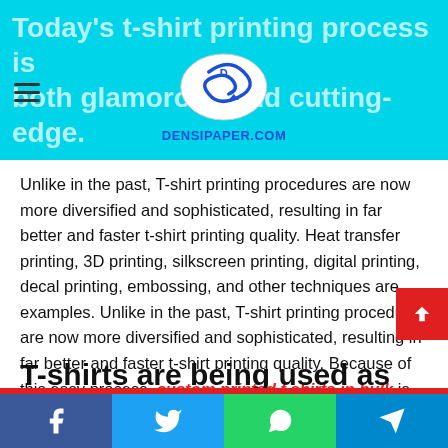Today's t-shirt printing process is both glamorous and cutting-edge.
[Figure (logo): Densipaper.com logo with blue swirl graphic and blue text DENSIPAPER.COM]
Unlike in the past, T-shirt printing procedures are now more diversified and sophisticated, resulting in far better and faster t-shirt printing quality. Heat transfer printing, 3D printing, silkscreen printing, digital printing, decal printing, embossing, and other techniques are examples. Unlike in the past, T-shirt printing procedures are now more diversified and sophisticated, resulting in far better and faster t-shirt printing quality. Because of this easy process, custom printed t shirts in bulk is becoming a profitable idea. Heat transfer printing, 3D printing, silkscreen printing, digital printing, decal printing, embossing, and other techniques are examples.
T-shirts are being used as